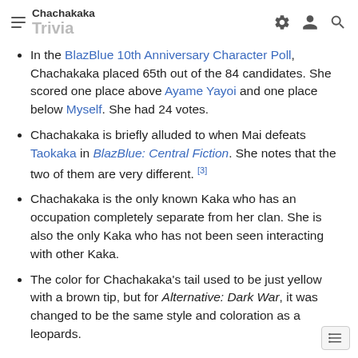Chachakaka — Trivia
In the BlazBlue 10th Anniversary Character Poll, Chachakaka placed 65th out of the 84 candidates. She scored one place above Ayame Yayoi and one place below Myself. She had 24 votes.
Chachakaka is briefly alluded to when Mai defeats Taokaka in BlazBlue: Central Fiction. She notes that the two of them are very different. [3]
Chachakaka is the only known Kaka who has an occupation completely separate from her clan. She is also the only Kaka who has not been seen interacting with other Kaka.
The color for Chachakaka's tail used to be just yellow with a brown tip, but for Alternative: Dark War, it was changed to be the same style and coloration as a leopards.